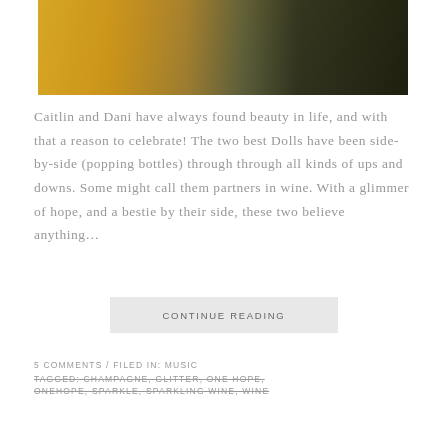[Figure (photo): Two women standing side-by-side outdoors on green grass. One wearing a yellow floral dress, the other wearing a dark plaid outfit. Photo cropped to show torsos/lower bodies.]
Caitlin and Dani have always found beauty in life, and with that a reason to celebrate! The two best Dolls have been side-by-side (popping bottles) through through all kinds of ups and downs. Some might call them partners in wine. With a glimmer of hope, and a bestie by their side, these two believe anything…
CONTINUE READING
5 COMMENTS / FILED IN: MUSIC
TAGGED: CHAMPAGNE, GLITTER, ONE HOPE,
ONEHOPE, SPARKLE, SPARKLING WINE, WINE